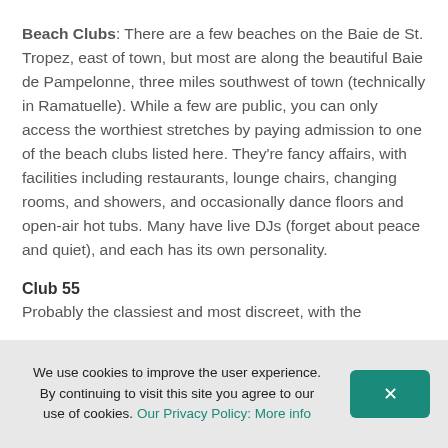Beach Clubs: There are a few beaches on the Baie de St. Tropez, east of town, but most are along the beautiful Baie de Pampelonne, three miles southwest of town (technically in Ramatuelle). While a few are public, you can only access the worthiest stretches by paying admission to one of the beach clubs listed here. They're fancy affairs, with facilities including restaurants, lounge chairs, changing rooms, and showers, and occasionally dance floors and open-air hot tubs. Many have live DJs (forget about peace and quiet), and each has its own personality.
Club 55
Probably the classiest and most discreet, with the
We use cookies to improve the user experience. By continuing to visit this site you agree to our use of cookies. Our Privacy Policy: More info